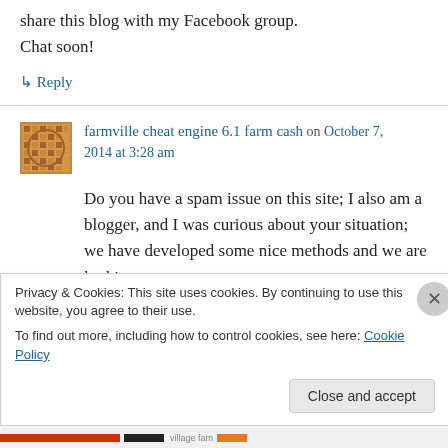share this blog with my Facebook group. Chat soon!
↳ Reply
farmville cheat engine 6.1 farm cash on October 7, 2014 at 3:28 am
Do you have a spam issue on this site; I also am a blogger, and I was curious about your situation; we have developed some nice methods and we are looking
Privacy & Cookies: This site uses cookies. By continuing to use this website, you agree to their use. To find out more, including how to control cookies, see here: Cookie Policy
Close and accept